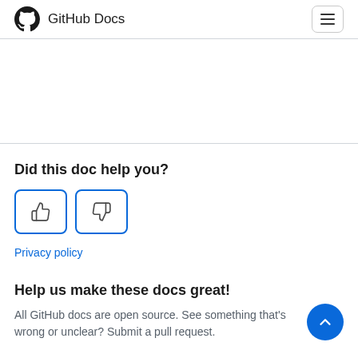GitHub Docs
Did this doc help you?
[Figure (infographic): Thumbs up and thumbs down feedback buttons with blue border]
Privacy policy
Help us make these docs great!
All GitHub docs are open source. See something that's wrong or unclear? Submit a pull request.
[Figure (other): Blue circular scroll-to-top button with upward chevron arrow]